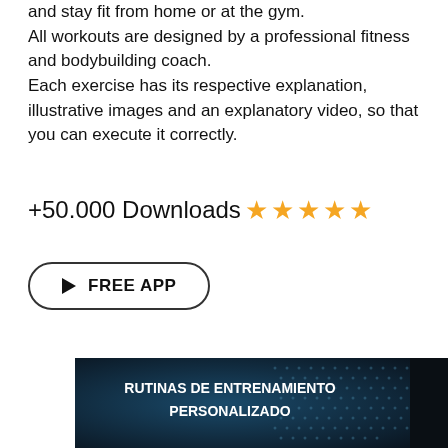and stay fit from home or at the gym.
All workouts are designed by a professional fitness and bodybuilding coach.
Each exercise has its respective explanation, illustrative images and an explanatory video, so that you can execute it correctly.
+50.000 Downloads ★★★★★
▶ FREE APP
[Figure (screenshot): Screenshot of app promotional banner with text 'RUTINAS DE ENTRENAMIENTO PERSONALIZADO' on dark teal/blue background with dot pattern]